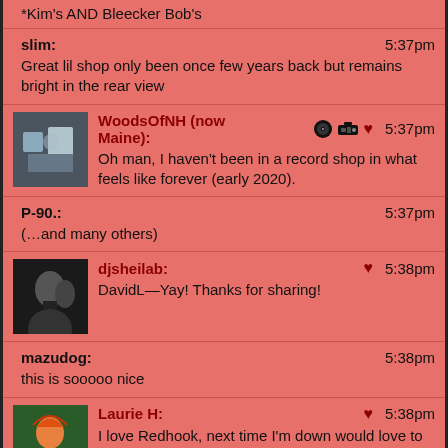*Kim's AND Bleecker Bob's
slim: 5:37pm
Great lil shop only been once few years back but remains bright in the rear view
WoodsOfNH (now Maine): 5:37pm
Oh man, I haven't been in a record shop in what feels like forever (early 2020).
P-90.: 5:37pm
(…and many others)
djsheilab: 5:38pm
DavidL—Yay! Thanks for sharing!
mazudog: 5:38pm
this is sooooo nice
Laurie H: 5:38pm
I love Redhook, next time I'm down would love to check out the shop
Vanessa Tara: 5:38pm
record shop followed!
mazudog: 5:38pm